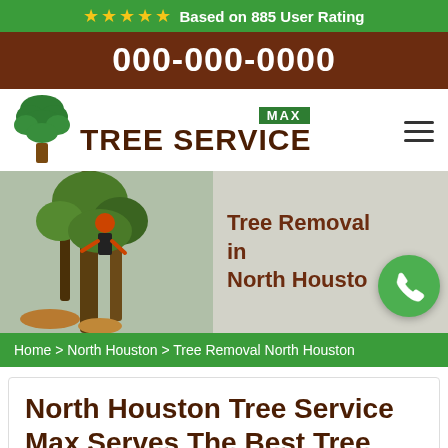Based on 885 User Rating
000-000-0000
[Figure (logo): Max Tree Service logo with green tree icon and brown text]
[Figure (photo): Tree removal worker in orange helmet and harness cutting trees, with overlay text Tree Removal in North Houston and green phone call button]
Home > North Houston > Tree Removal North Houston
North Houston Tree Service Max Serves The Best Tree